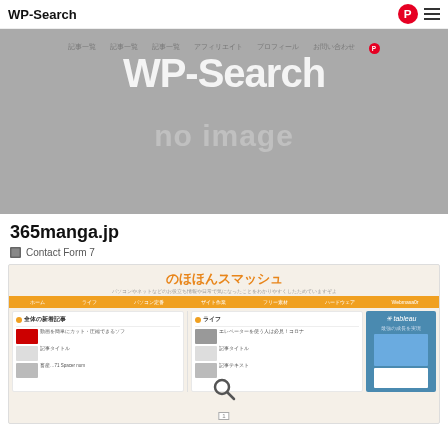WP-Search
[Figure (screenshot): WP-Search website hero image showing site name 'WP-Search' and 'no image' placeholder on gray background with navigation links and Pinterest icon]
365manga.jp
Contact Form 7
[Figure (screenshot): のほほんスマッシュ Japanese blog website screenshot showing orange navigation bar, article listings with thumbnails, and Tableau advertisement column]